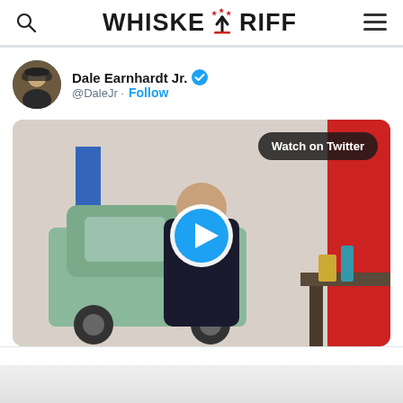[Figure (logo): Whiskey Riff website logo with search icon on left and hamburger menu on right]
[Figure (screenshot): Embedded Twitter/X post by Dale Earnhardt Jr. (@DaleJr) with a Follow button and a video thumbnail showing a man in a dark t-shirt standing in a garage with a vintage green truck, with a 'Watch on Twitter' badge and play button overlay]